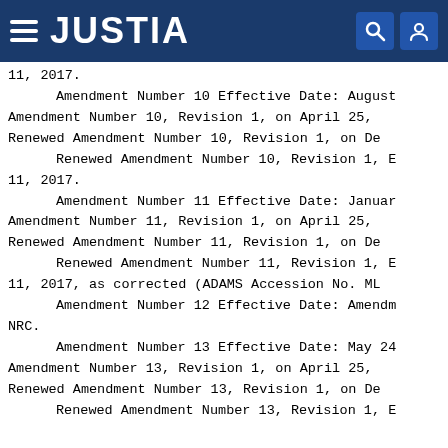JUSTIA
11, 2017.
    Amendment Number 10 Effective Date: August Amendment Number 10, Revision 1, on April 25, Renewed Amendment Number 10, Revision 1, on De    Renewed Amendment Number 10, Revision 1, E 11, 2017.
    Amendment Number 11 Effective Date: Januar Amendment Number 11, Revision 1, on April 25, Renewed Amendment Number 11, Revision 1, on De    Renewed Amendment Number 11, Revision 1, E 11, 2017, as corrected (ADAMS Accession No. ML    Amendment Number 12 Effective Date: Amendm NRC.
    Amendment Number 13 Effective Date: May 24 Amendment Number 13, Revision 1, on April 25, Renewed Amendment Number 13, Revision 1, on De    Renewed Amendment Number 13, Revision 1, E